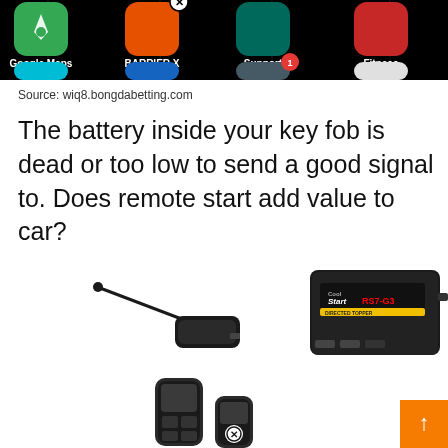[Figure (screenshot): Screenshot of a smartphone app grid showing app icons: Google Maps (green arrow icon), BARRIER X (orange/red icon with X badge), Support (teal icon), Fitness (pink/red icon). Below is a partial second row of app icons including one with a red notification badge showing '1'.]
Source: wiq8.bongdabetting.com
The battery inside your key fob is dead or too low to send a good signal to. Does remote start add value to car?
[Figure (photo): Photo of a remote car starter kit (Cool Start RS7-G3 by Directed) showing a black control module with label, an antenna/sensor module with wire, and two key fob remotes (one rectangular with buttons, one smaller with circular X button). An orange scroll-to-top button is visible in the bottom right corner.]